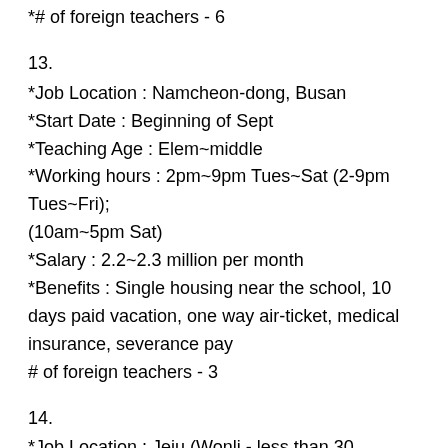* # of foreign teachers - 6
13.
*Job Location : Namcheon-dong, Busan
*Start Date : Beginning of Sept
*Teaching Age : Elem~middle
*Working hours : 2pm~9pm Tues~Sat (2-9pm Tues~Fri); (10am~5pm Sat)
*Salary : 2.2~2.3 million per month
*Benefits : Single housing near the school, 10 days paid vacation, one way air-ticket, medical insurance, severance pay
# of foreign teachers - 3
14.
*Job Location : Jeju (Wonli - less than 30 minutes from